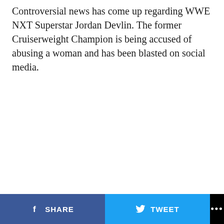Controversial news has come up regarding WWE NXT Superstar Jordan Devlin. The former Cruiserweight Champion is being accused of abusing a woman and has been blasted on social media.
SHARE   TWEET   ...